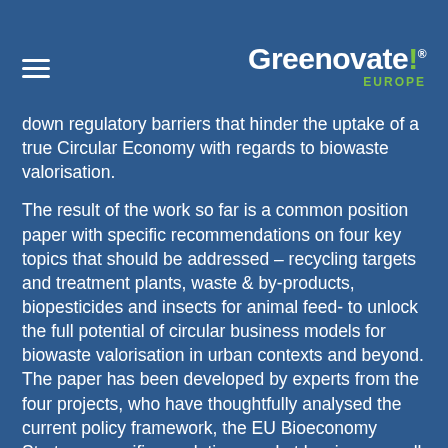Greenovate! EUROPE
down regulatory barriers that hinder the uptake of a true Circular Economy with regards to biowaste valorisation.
The result of the work so far is a common position paper with specific recommendations on four key topics that should be addressed – recycling targets and treatment plants, waste & by-products, biopesticides and insects for animal feed- to unlock the full potential of circular business models for biowaste valorisation in urban contexts and beyond. The paper has been developed by experts from the four projects, who have thoughtfully analysed the current policy framework, the EU Bioeconomy Strategy, specific regulation, market barriers as well as the opportunities provided by the new EU Green Deal and the Farm to Fork Strategy.